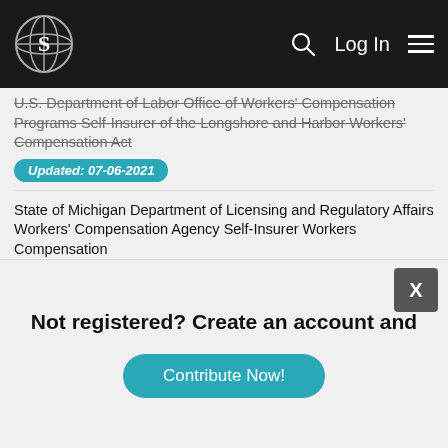Navigation bar with logo, search, Log In, and menu
U.S. Department of Labor Office of Workers' Compensation Programs Self-Insurer of the Longshore and Harbor Workers' Compensation Act
Updated: 07-06-2021
State of Michigan Department of Licensing and Regulatory Affairs Workers' Compensation Agency Self-Insurer Workers Compensation
Updated: 07-06-2021
State of Delaware Department of Natural Resources and Environmental Control Division of Fish & Wildlife Shellfish Aquaculture Performance
Updated: 07-06-2021
Not registered? Create an account and
Contribute Now!